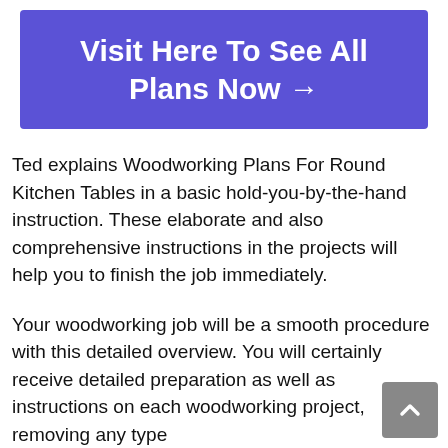[Figure (other): Blue/purple banner button with white bold text: 'Visit Here To See All Plans Now →']
Ted explains Woodworking Plans For Round Kitchen Tables in a basic hold-you-by-the-hand instruction. These elaborate and also comprehensive instructions in the projects will help you to finish the job immediately.
Your woodworking job will be a smooth procedure with this detailed overview. You will certainly receive detailed preparation as well as instructions on each woodworking project, removing any type